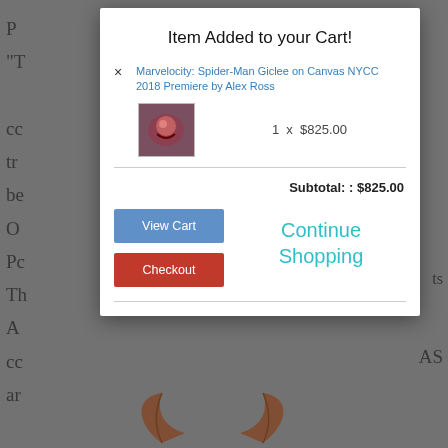Item Added to your Cart!
Marvelocity: Spider-Man Giclee on Canvas NYCC 2018 Premiere by Alex Ross
1 x $825.00
Subtotal: : $825.00
View Cart
Continue Shopping
Checkout